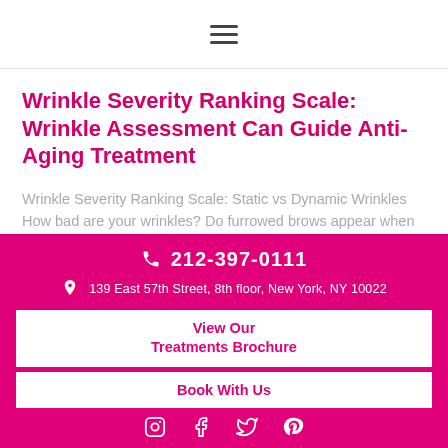≡ (hamburger menu icon)
Wrinkle Severity Ranking Scale: Wrinkle Assessment Can Guide Anti-Aging Treatment
Wrinkle Severity Ranking Scale: Static vs Dynamic Wrinkles How bad are your wrinkles? Do furrowed brows appear when you're deep in thought? Or smile lines and
📞 212-397-0111  📍 139 East 57th Street, 8th floor, New York, NY 10022  View Our Treatments Brochure  Book With Us  [Instagram] [Facebook] [Twitter] [Pinterest]